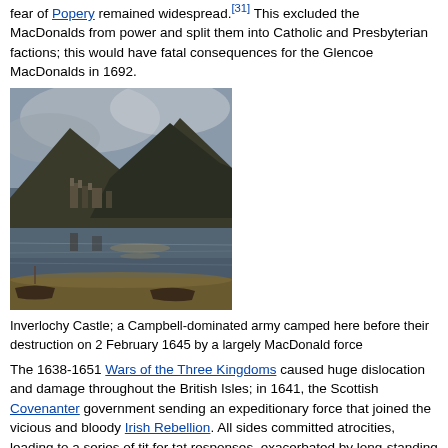fear of Popery remained widespread.[31] This excluded the MacDonalds from power and split them into Catholic and Presbyterian factions; this would have fatal consequences for the Glencoe MacDonalds in 1692.
[Figure (photo): Painting of Inverlochy Castle reflecting in still water with mountains and dramatic sky in background, boats in foreground]
Inverlochy Castle; a Campbell-dominated army camped here before their destruction on 2 February 1645 by a largely MacDonald force
The 1638-1651 Wars of the Three Kingdoms caused huge dislocation and damage throughout the British Isles; in 1641, the Scottish Covenanter government sending an expeditionary force that joined the vicious and bloody Irish Rebellion. All sides committed atrocities, leading to a series of tit for tat responses, exacerbated by long-standing animosities; in 1642 on Rathlin Island, soldiers from a predominantly Clan Campbell-recruited unit led by Sir Duncan Campbell threw scores of MacDonnell women over the cliffs to their deaths on rocks below.[32][33]